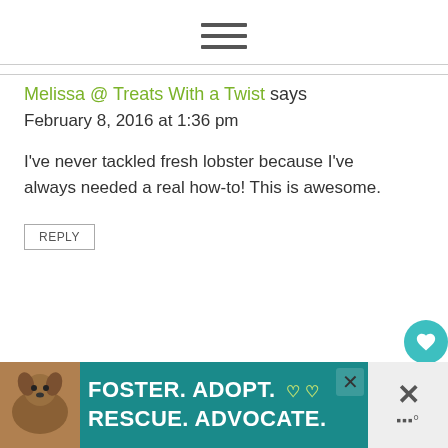[Figure (other): Hamburger menu icon with three horizontal lines]
Melissa @ Treats With a Twist says
February 8, 2016 at 1:36 pm
I've never tackled fresh lobster because I've always needed a real how-to! This is awesome.
REPLY
[Figure (other): Teal circular heart/favorite button]
[Figure (other): Share button icon]
[Figure (other): Advertisement banner: FOSTER. ADOPT. RESCUE. ADVOCATE. with dog image]